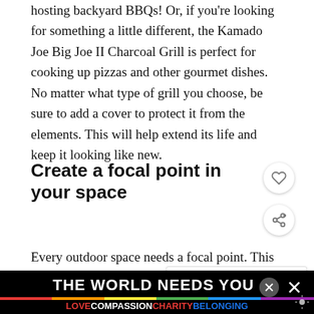hosting backyard BBQs! Or, if you're looking for something a little different, the Kamado Joe Big Joe II Charcoal Grill is perfect for cooking up pizzas and other gourmet dishes. No matter what type of grill you choose, be sure to add a cover to protect it from the elements. This will help extend its life and keep it looking like new.
Create a focal point in your space
Every outdoor space needs a focal point. This co... be anything from a water feature to a fi... to you to decide what will work best in your space. If you're not sure where to start, try looking for insp... y...
[Figure (screenshot): WHAT'S NEXT box with thumbnail image and headline 'Affordable Ways To...']
[Figure (infographic): Advertisement banner reading 'THE WORLD NEEDS YOU' with LOVE COMPASSION CHARITY BELONGING in colored text and a rainbow bar]